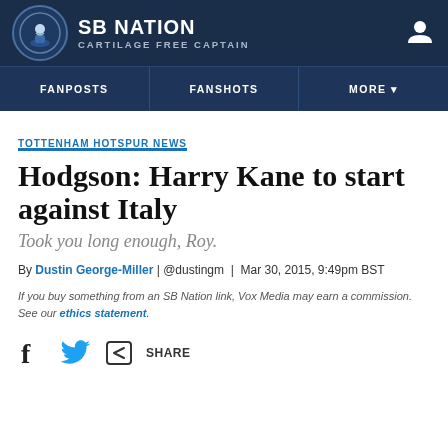SB NATION – CARTILAGE FREE CAPTAIN
TOTTENHAM HOTSPUR NEWS
Hodgson: Harry Kane to start against Italy
Took you long enough, Roy.
By Dustin George-Miller | @dustingm | Mar 30, 2015, 9:49pm BST
If you buy something from an SB Nation link, Vox Media may earn a commission. See our ethics statement.